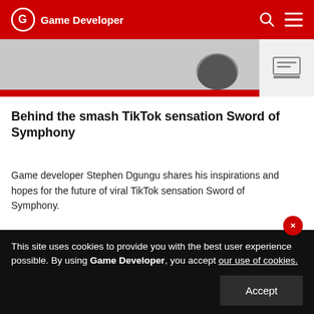Game Developer
[Figure (photo): Partial cropped image with a dark circular element on grey background, with red strip at bottom and icon on right side]
Behind the smash TikTok sensation Sword of Symphony
Game developer Stephen Dgungu shares his inspirations and hopes for the future of viral TikTok sensation Sword of Symphony.
July 19, 2022
[Figure (photo): Dark moody photo of a bearded man looking intensely at the camera, with red bar on right side]
This site uses cookies to provide you with the best user experience possible. By using Game Developer, you accept our use of cookies.